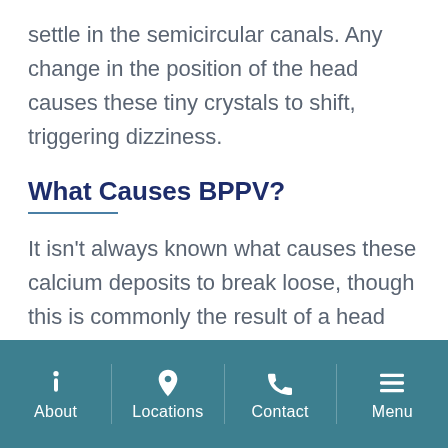settle in the semicircular canals. Any change in the position of the head causes these tiny crystals to shift, triggering dizziness.
What Causes BPPV?
It isn't always known what causes these calcium deposits to break loose, though this is commonly the result of a head injury, inner ear infection, damage from ear surgery or prolonged back position associated with bed rest. Migraines might also play a role. Older
About | Locations | Contact | Menu